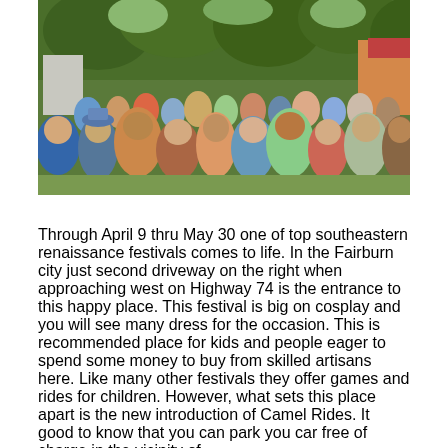[Figure (photo): Outdoor crowd scene at a renaissance festival. A large crowd of people fills an outdoor area lined with trees and festival stalls. People are seen from behind and from the side, wearing colorful clothing and hats.]
Through April 9 thru May 30 one of top southeastern renaissance festivals comes to life. In the Fairburn city just second driveway on the right when approaching west on Highway 74 is the entrance to this happy place. This festival is big on cosplay and you will see many dress for the occasion. This is recommended place for kids and people eager to spend some money to buy from skilled artisans here. Like many other festivals they offer games and rides for children. However, what sets this place apart is the new introduction of Camel Rides. It  good to know that you can park you car free of charge in the vicinity of